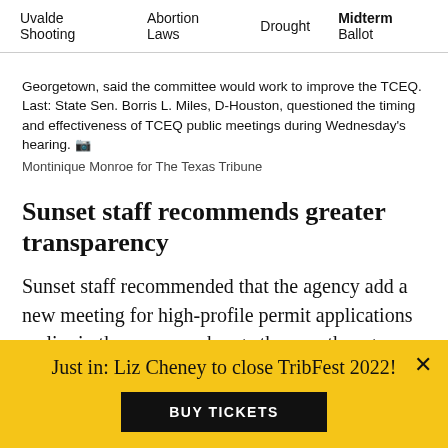Uvalde Shooting   Abortion Laws   Drought   Midterm Ballot
Georgetown, said the committee would work to improve the TCEQ. Last: State Sen. Borris L. Miles, D-Houston, questioned the timing and effectiveness of TCEQ public meetings during Wednesday's hearing. 📷 Montinique Monroe for The Texas Tribune
Sunset staff recommends greater transparency
Sunset staff recommended that the agency add a new meeting for high-profile permit applications earlier in the process, change the way the agency evaluates companies' compliance history, require more public decision-making by commissioners and make information more accessible online, among other
Just in: Liz Cheney to close TribFest 2022! BUY TICKETS